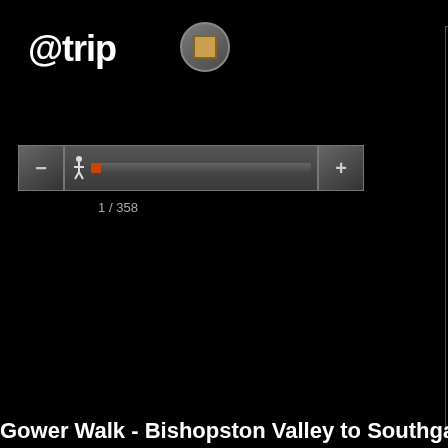@trip
[Figure (screenshot): Round icon button with golden/brown square in center on gray circular background]
[Figure (screenshot): Navigation UI: minus button, pedestrian icon with progress slider bar showing position 1 of 358, plus button]
1 / 358
[Figure (screenshot): Black map/navigation area panel with gray border]
Gower Walk - Bishopston Valley to Southgate Circula